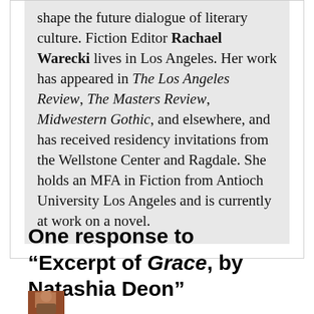shape the future dialogue of literary culture. Fiction Editor Rachael Warecki lives in Los Angeles. Her work has appeared in The Los Angeles Review, The Masters Review, Midwestern Gothic, and elsewhere, and has received residency invitations from the Wellstone Center and Ragdale. She holds an MFA in Fiction from Antioch University Los Angeles and is currently at work on a novel.
One response to “Excerpt of Grace, by Natashia Deon”
[Figure (photo): Small avatar/profile photo thumbnail, partially visible at bottom of page]